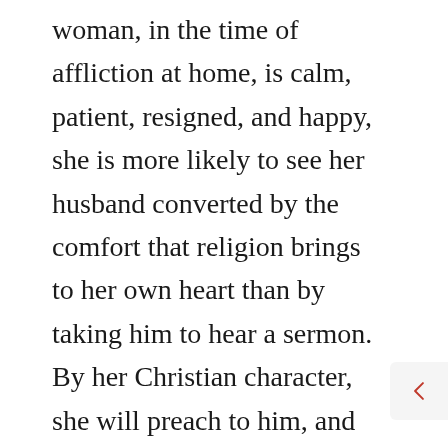woman, in the time of affliction at home, is calm, patient, resigned, and happy, she is more likely to see her husband converted by the comfort that religion brings to her own heart than by taking him to hear a sermon. By her Christian character, she will preach to him, and supply him with evidence of the power of grace which he will not be able to gainsay. I have known persons, in a storm at sea, exercise great influence over all in the vessel by the way in which they have been able to live above the storm, resting patiently in God; and in